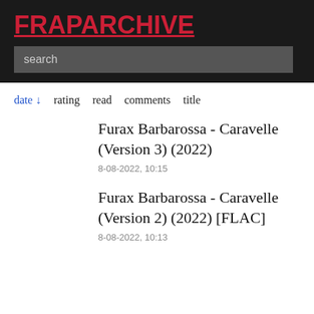FRAPARCHIVE
search
date ↓  rating  read  comments  title
Furax Barbarossa - Caravelle (Version 3) (2022)
8-08-2022, 10:15
Furax Barbarossa - Caravelle (Version 2) (2022) [FLAC]
8-08-2022, 10:13